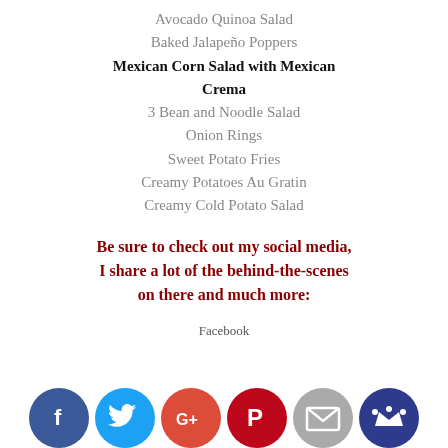Avocado Quinoa Salad
Baked Jalapeño Poppers
Mexican Corn Salad with Mexican Crema
3 Bean and Noodle Salad
Onion Rings
Sweet Potato Fries
Creamy Potatoes Au Gratin
Creamy Cold Potato Salad
Be sure to check out my social media, I share a lot of the behind-the-scenes on there and much more:
Facebook Instagram
[Figure (other): Social media icon buttons: Facebook (blue), Twitter (light blue), Google+ (red), Pinterest (dark red), Email (gray), Crown/other (dark blue)]